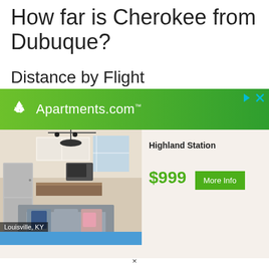How far is Cherokee from Dubuque?
Distance by Flight
[Figure (other): Apartments.com advertisement banner with green gradient header showing Apartments.com logo and name, followed by an apartment interior photo labeled Louisville, KY with Highland Station listing at $999 and a More Info button]